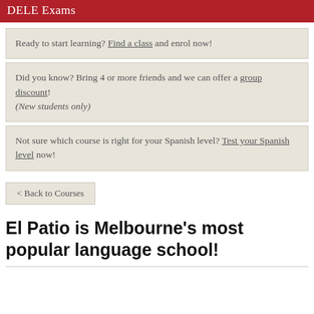DELE Exams
Ready to start learning? Find a class and enrol now!
Did you know? Bring 4 or more friends and we can offer a group discount! (New students only)
Not sure which course is right for your Spanish level? Test your Spanish level now!
< Back to Courses
El Patio is Melbourne's most popular language school!